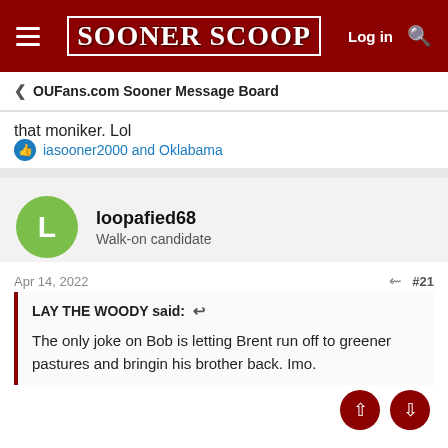SOONER SCOOP — Log in
< OUFans.com Sooner Message Board
that moniker. Lol
iasooner2000 and Oklabama
loopafied68
Walk-on candidate
Apr 14, 2022  #21
LAY THE WOODY said:
The only joke on Bob is letting Brent run off to greener pastures and bringin his brother back. Imo.